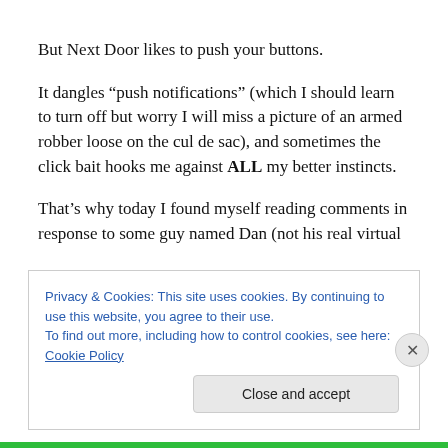But Next Door likes to push your buttons.
It dangles “push notifications” (which I should learn to turn off but worry I will miss a picture of an armed robber loose on the cul de sac), and sometimes the click bait hooks me against ALL my better instincts.
That’s why today I found myself reading comments in response to some guy named Dan (not his real virtual
Privacy & Cookies: This site uses cookies. By continuing to use this website, you agree to their use.
To find out more, including how to control cookies, see here: Cookie Policy
Close and accept